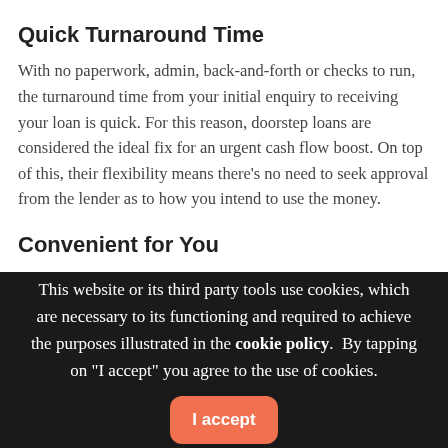Quick Turnaround Time
With no paperwork, admin, back-and-forth or checks to run, the turnaround time from your initial enquiry to receiving your loan is quick. For this reason, doorstep loans are considered the ideal fix for an urgent cash flow boost. On top of this, their flexibility means there's no need to seek approval from the lender as to how you intend to use the money.
Convenient for You
A wonderful benefit of doorstep loans is that you can apply,
This website or its third party tools use cookies, which are necessary to its functioning and required to achieve the purposes illustrated in the cookie policy.  By tapping on "I accept" you agree to the use of cookies.